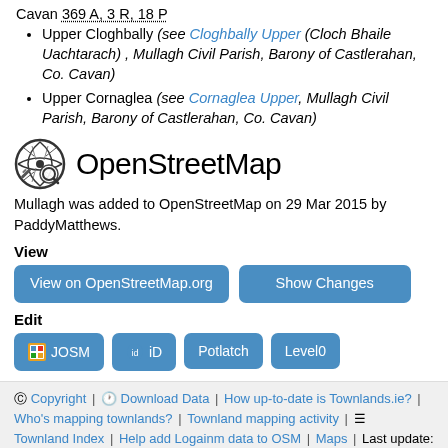Cavan 369 A, 3 R, 18 P
Upper Cloghbally (see Cloghbally Upper (Cloch Bhaile Uachtarach) , Mullagh Civil Parish, Barony of Castlerahan, Co. Cavan)
Upper Cornaglea (see Cornaglea Upper, Mullagh Civil Parish, Barony of Castlerahan, Co. Cavan)
OpenStreetMap
Mullagh was added to OpenStreetMap on 29 Mar 2015 by PaddyMatthews.
View
View on OpenStreetMap.org | Show Changes
Edit
JOSM | iD | Potlatch | Level0
© Copyright | ⊙ Download Data | How up-to-date is Townlands.ie? | Who's mapping townlands? | Townland mapping activity | ☰ Townland Index | Help add Logainm data to OSM | Maps | Last update: April 24, 2022, 8:30 a.m.